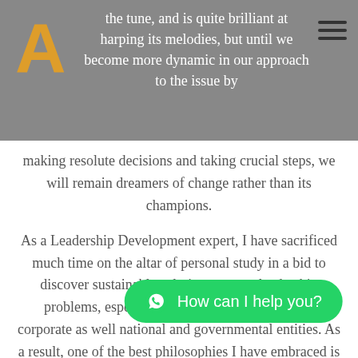the tune, and is quite brilliant at harping its melodies, but until we become more dynamic in our approach to the issue by
making resolute decisions and taking crucial steps, we will remain dreamers of change rather than its champions.

As a Leadership Development expert, I have sacrificed much time on the altar of personal study in a bid to discover sustainable solutions to core leadership problems, especially as they relate to religious, corporate as well national and governmental entities. As a result, one of the best philosophies I have embraced is that of Daniel renowned for address the dynamics of change and